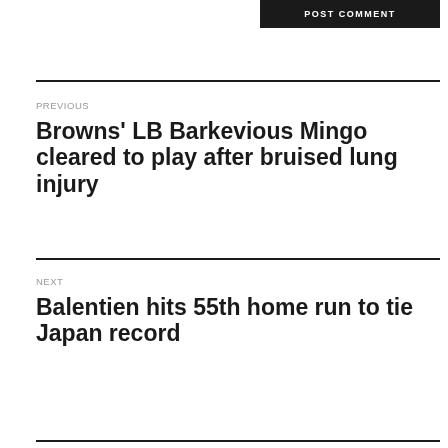[Figure (other): POST COMMENT button — dark background with white uppercase text]
PREVIOUS
Browns' LB Barkevious Mingo cleared to play after bruised lung injury
NEXT
Balentien hits 55th home run to tie Japan record